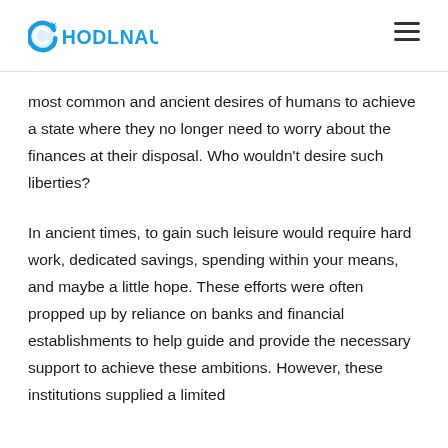HODLNAUT
most common and ancient desires of humans to achieve a state where they no longer need to worry about the finances at their disposal. Who wouldn't desire such liberties?
In ancient times, to gain such leisure would require hard work, dedicated savings, spending within your means, and maybe a little hope. These efforts were often propped up by reliance on banks and financial establishments to help guide and provide the necessary support to achieve these ambitions. However, these institutions supplied a limited